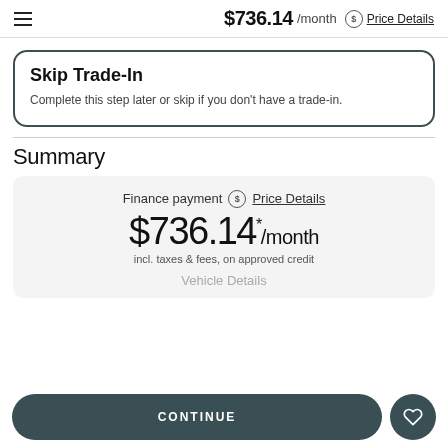$736.14 /month Price Details
Skip Trade-In
Complete this step later or skip if you don't have a trade-in.
Summary
Finance payment Price Details $736.14 */month incl. taxes & fees, on approved credit
Vehicle Details
CONTINUE